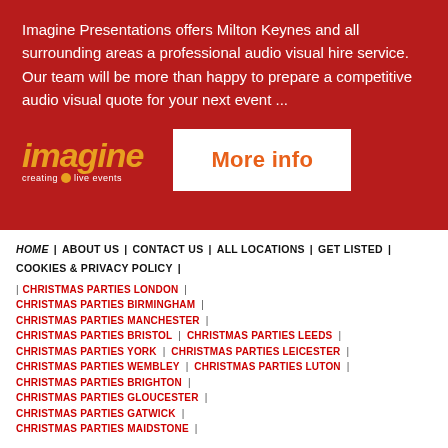Imagine Presentations offers Milton Keynes and all surrounding areas a professional audio visual hire service. Our team will be more than happy to prepare a competitive audio visual quote for your next event ...
[Figure (logo): Imagine Presentations logo - 'imagine' in orange italic text with 'creating live events' tagline below]
More info
HOME | ABOUT US | CONTACT US | ALL LOCATIONS | GET LISTED | COOKIES & PRIVACY POLICY |
CHRISTMAS PARTIES LONDON |
CHRISTMAS PARTIES BIRMINGHAM |
CHRISTMAS PARTIES MANCHESTER |
CHRISTMAS PARTIES BRISTOL | CHRISTMAS PARTIES LEEDS |
CHRISTMAS PARTIES YORK | CHRISTMAS PARTIES LEICESTER |
CHRISTMAS PARTIES WEMBLEY | CHRISTMAS PARTIES LUTON |
CHRISTMAS PARTIES BRIGHTON |
CHRISTMAS PARTIES GLOUCESTER |
CHRISTMAS PARTIES GATWICK |
CHRISTMAS PARTIES MAIDSTONE |